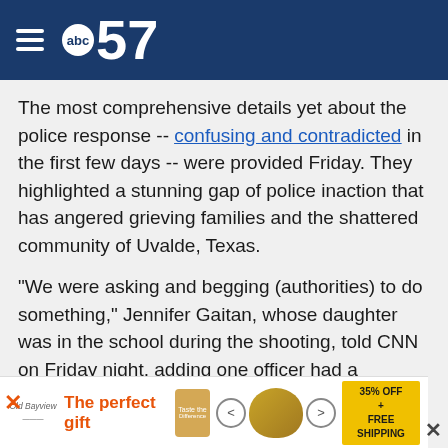abc57
The most comprehensive details yet about the police response -- confusing and contradicted in the first few days -- were provided Friday. They highlighted a stunning gap of police inaction that has angered grieving families and the shattered community of Uvalde, Texas.
"We were asking and begging (authorities) to do something," Jennifer Gaitan, whose daughter was in the school during the shooting, told CNN on Friday night, adding one officer had a physical confrontation with her. "I feel like they were not concerned about the real trauma that was happening inside."
[Figure (infographic): Advertisement banner: The perfect gift - 35% OFF + FREE SHIPPING with bowl food image and navigation arrows]